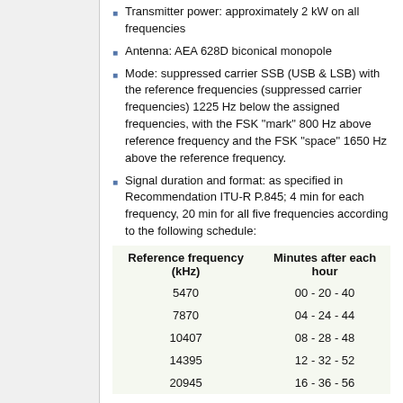Transmitter power: approximately 2 kW on all frequencies
Antenna: AEA 628D biconical monopole
Mode: suppressed carrier SSB (USB & LSB) with the reference frequencies (suppressed carrier frequencies) 1225 Hz below the assigned frequencies, with the FSK "mark" 800 Hz above reference frequency and the FSK "space" 1650 Hz above the reference frequency.
Signal duration and format: as specified in Recommendation ITU-R P.845; 4 min for each frequency, 20 min for all five frequencies according to the following schedule:
| Reference frequency (kHz) | Minutes after each hour |
| --- | --- |
| 5470 | 00 - 20 - 40 |
| 7870 | 04 - 24 - 44 |
| 10407 | 08 - 28 - 48 |
| 14395 | 12 - 32 - 52 |
| 20945 | 16 - 36 - 56 |